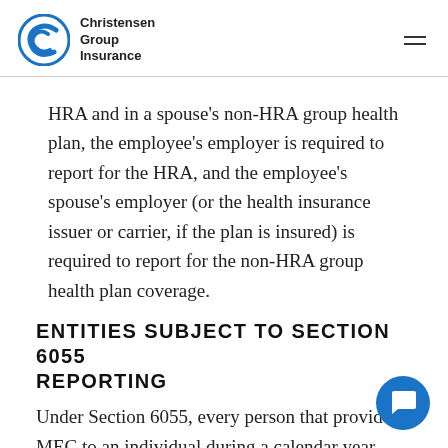Christensen Group Insurance
HRA and in a spouse's non-HRA group health plan, the employee's employer is required to report for the HRA, and the employee's spouse's employer (or the health insurance issuer or carrier, if the plan is insured) is required to report for the non-HRA group health plan coverage.
ENTITIES SUBJECT TO SECTION 6055 REPORTING
Under Section 6055, every person that provides MEC to an individual during a calendar year must re[port] the health coverage provided. Reporting entitie[s]